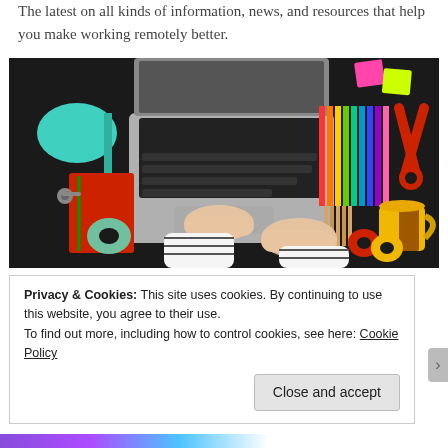The latest on all kinds of information, news, and resources that help you make working remotely better.
[Figure (photo): Overhead view of a person typing on a laptop, surrounded by a green desk lamp, colored pencils, scissors, tape rolls, a yellow mug with coffee, a red notebook, and other office supplies on a dark desk.]
Privacy & Cookies: This site uses cookies. By continuing to use this website, you agree to their use.
To find out more, including how to control cookies, see here: Cookie Policy
Close and accept